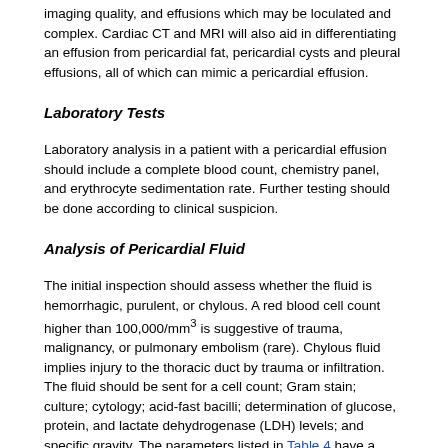imaging quality, and effusions which may be loculated and complex. Cardiac CT and MRI will also aid in differentiating an effusion from pericardial fat, pericardial cysts and pleural effusions, all of which can mimic a pericardial effusion.
Laboratory Tests
Laboratory analysis in a patient with a pericardial effusion should include a complete blood count, chemistry panel, and erythrocyte sedimentation rate. Further testing should be done according to clinical suspicion.
Analysis of Pericardial Fluid
The initial inspection should assess whether the fluid is hemorrhagic, purulent, or chylous. A red blood cell count higher than 100,000/mm3 is suggestive of trauma, malignancy, or pulmonary embolism (rare). Chylous fluid implies injury to the thoracic duct by trauma or infiltration. The fluid should be sent for a cell count; Gram stain; culture; cytology; acid-fast bacilli; determination of glucose, protein, and lactate dehydrogenase (LDH) levels; and specific gravity. The parameters listed in Table 4 have a high sensitivity for differentiating exudates versus transudates. An elevated protein level higher than 6.0 g/dL often indicates tuberculous, purulent, or parapneumonic effusion. An isolated increased fluid LDH level (>300 U/dL) with a normal serum LDH level is most likely caused by malignancy. A low pericardial fluid glucose level (<60–80 mg/dL) may be caused by parapneumonic, rheumatoid, tuberculous, or malignant effusion. However, no diagnostic test of pericardial fluid is specific for effusion associated with postpericardiotomy